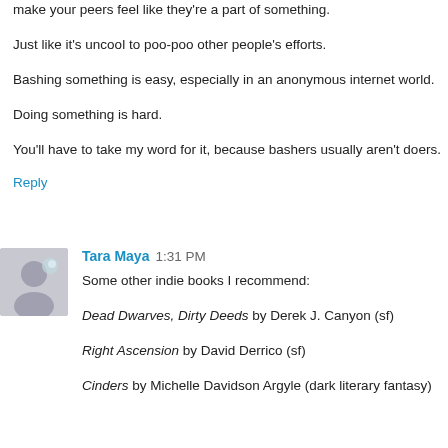make your peers feel like they're a part of something.
Just like it's uncool to poo-poo other people's efforts.
Bashing something is easy, especially in an anonymous internet world.
Doing something is hard.
You'll have to take my word for it, because bashers usually aren't doers.
Reply
Tara Maya  1:31 PM
Some other indie books I recommend:
Dead Dwarves, Dirty Deeds by Derek J. Canyon (sf)
Right Ascension by David Derrico (sf)
Cinders by Michelle Davidson Argyle (dark literary fantasy)